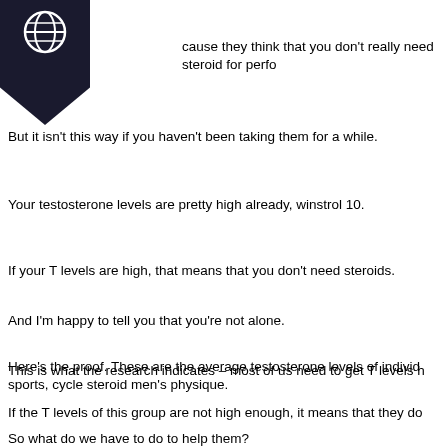[Figure (logo): Dark navy/black bookmark-shaped logo with a circular globe-like icon inside]
cause they think that you don't really need steroid for perfo
But it isn't this way if you haven't been taking them for a while.
Your testosterone levels are pretty high already, winstrol 10.
If your T levels are high, that means that you don't need steroids.
And I'm happy to tell you that you're not alone.
This is what the research indicates – most of us need to get T levels h
Here's the proof. These are the average testosterone levels of individ sports, cycle steroid men's physique.
If the T levels of this group are not high enough, it means that they do
So what do we have to do to help them?
This is the secret, sarms-22 lgd-40330! This is what the testosterone